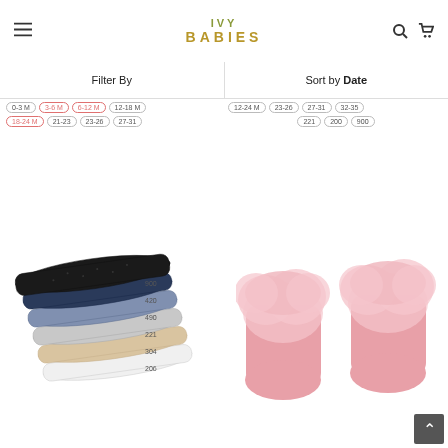[Figure (logo): IVY BABIES logo in olive green and gold letters]
Filter By
Sort by Date
0-3 M | 3-6 M | 6-12 M | 12-18 M | 18-24 M | 21-23 | 23-26 | 27-31
12-24 M | 23-26 | 27-31 | 32-35 | 221 | 200 | 900
[Figure (photo): Stack of baby ankle socks in multiple colors: black, navy, blue, grey, beige, white with color codes]
[Figure (photo): Pink baby socks with fluffy tulle/pom-pom trim]